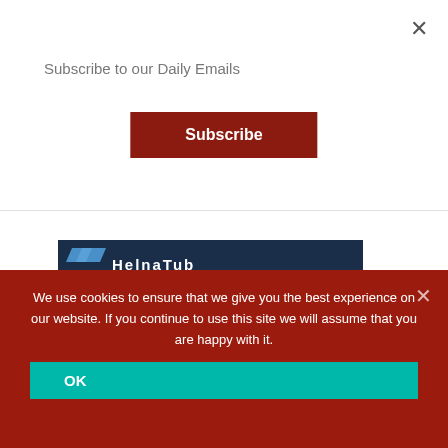Subscribe to our Daily Emails
Subscribe
[Figure (screenshot): Advertisement banner for Hel(na)lab / cloud-native content management with IBC Hall 2 A36g text and IBC red circle logo on dark blue background]
We use cookies to ensure that we give you the best experience on our website. If you continue to use this site we will assume that you are happy with it.
OK